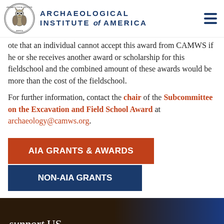Archaeological Institute of America
ote that an individual cannot accept this award from CAMWS if he or she receives another award or scholarship for this fieldschool and the combined amount of these awards would be more than the cost of the fieldschool.
For further information, contact the chair of the Subcommittee on the Excavation and Field School Award at archaeology@camws.org.
AIA GRANTS & AWARDS
NON-AIA GRANTS
support Us